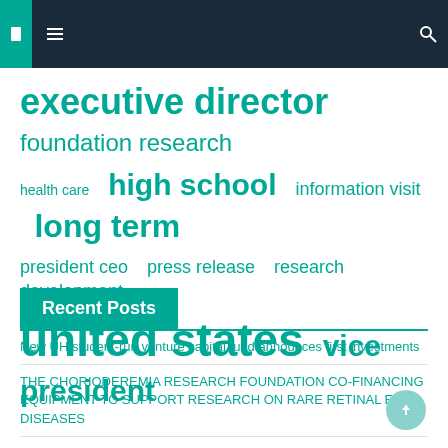Navigation bar with icons
[Figure (other): Word cloud showing terms: executive director, foundation research, health care, high school, information visit, long term, president ceo, press release, research development, united states, vice president]
Recent Posts
New UH student-run venture capital fund announces first investments
THE CHORIODEREMIA RESEARCH FOUNDATION CO-FINANCING EQUIPMENT TO SUPPORT RESEARCH ON RARE RETINAL EYE DISEASES
First Foundation Advisors acquires 1,347 shares of Amazon.com, Inc. (NASDAQ: AMZN)